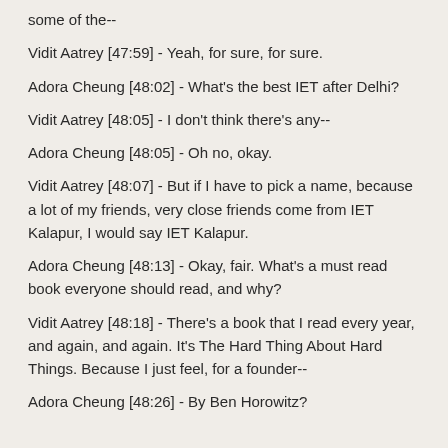some of the--
Vidit Aatrey [47:59] - Yeah, for sure, for sure.
Adora Cheung [48:02] - What's the best IET after Delhi?
Vidit Aatrey [48:05] - I don't think there's any--
Adora Cheung [48:05] - Oh no, okay.
Vidit Aatrey [48:07] - But if I have to pick a name, because a lot of my friends, very close friends come from IET Kalapur, I would say IET Kalapur.
Adora Cheung [48:13] - Okay, fair. What's a must read book everyone should read, and why?
Vidit Aatrey [48:18] - There's a book that I read every year, and again, and again. It's The Hard Thing About Hard Things. Because I just feel, for a founder--
Adora Cheung [48:26] - By Ben Horowitz?